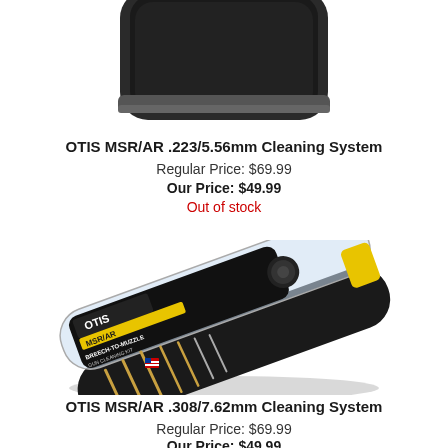[Figure (photo): Top portion of OTIS MSR/AR cleaning system product in black case, partially visible at top of page]
OTIS MSR/AR .223/5.56mm Cleaning System
Regular Price: $69.99
Our Price: $49.99
Out of stock
[Figure (photo): OTIS MSR/AR Breech-to-Muzzle Gun Cleaning Kit in oval black/clear plastic case with yellow accents, showing cleaning rods and accessories, angled view]
OTIS MSR/AR .308/7.62mm Cleaning System
Regular Price: $69.99
Our Price: $49.99